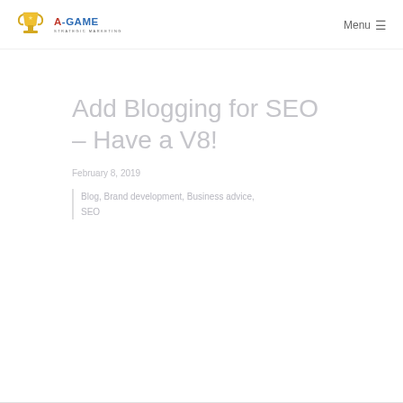A-GAME STRATEGIC MARKETING — Menu
Add Blogging for SEO – Have a V8!
February 8, 2019
Blog, Brand development, Business advice, SEO